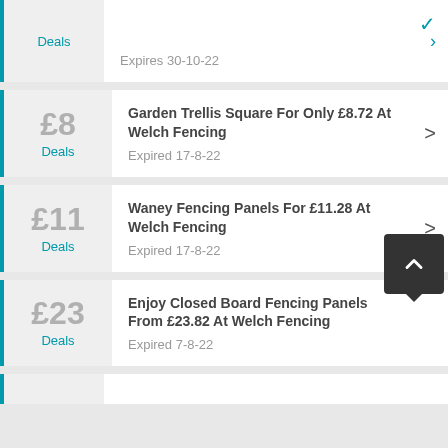Deals | Expires 30-10-22
£8 Deals | Garden Trellis Square For Only £8.72 At Welch Fencing | Expired 17-8-22
£11 Deals | Waney Fencing Panels For £11.28 At Welch Fencing | Expired 17-8-22
£23 Deals | Enjoy Closed Board Fencing Panels From £23.82 At Welch Fencing | Expired 7-8-22